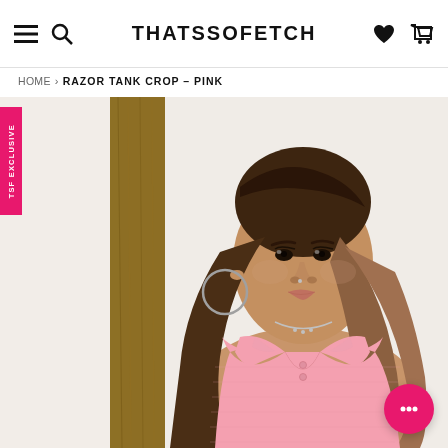THATSSOFETCH
HOME > RAZOR TANK CROP – PINK
[Figure (photo): Model wearing a pink razor tank crop top with collar and button placket, paired with hoop earrings and a delicate necklace, photographed against a white background with a wooden post.]
TSF EXCLUSIVE